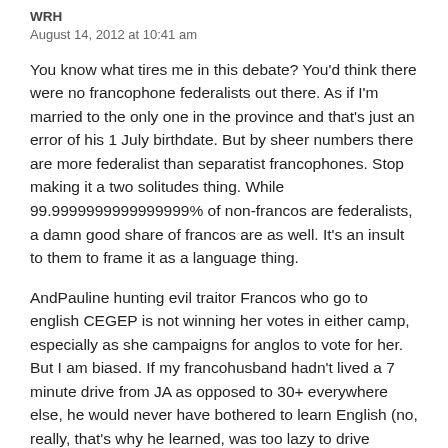WRH
August 14, 2012 at 10:41 am
You know what tires me in this debate? You'd think there were no francophone federalists out there. As if I'm married to the only one in the province and that's just an error of his 1 July birthdate. But by sheer numbers there are more federalist than separatist francophones. Stop making it a two solitudes thing. While 99.9999999999999999% of non-francos are federalists, a damn good share of francos are as well. It's an insult to them to frame it as a language thing.
AndPauline hunting evil traitor Francos who go to english CEGEP is not winning her votes in either camp, especially as she campaigns for anglos to vote for her. But I am biased. If my francohusband hadn't lived a 7 minute drive from JA as opposed to 30+ everywhere else, he would never have bothered to learn English (no, really, that's why he learned, was too lazy to drive further, sighed, sucked it up, and decided he might as well finally get around to it) and married